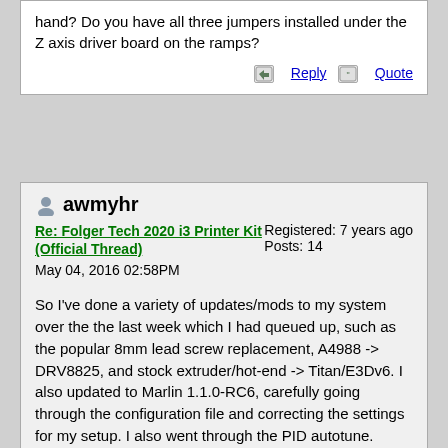hand? Do you have all three jumpers installed under the Z axis driver board on the ramps?
Reply   Quote
awmyhr
Re: Folger Tech 2020 i3 Printer Kit (Official Thread)
May 04, 2016 02:58PM
Registered: 7 years ago
Posts: 14
So I've done a variety of updates/mods to my system over the the last week which I had queued up, such as the popular 8mm lead screw replacement, A4988 -> DRV8825, and stock extruder/hot-end -> Titan/E3Dv6. I also updated to Marlin 1.1.0-RC6, carefully going through the configuration file and correcting the settings for my setup. I also went through the PID autotune.
I did not, however, change anything about the print bed and am using the same PLA filament, yet I no longer have any bed adhesion at all. Has anyone else encountered bed adhesion issues after upgrading to the E3D? I can't think of anything else